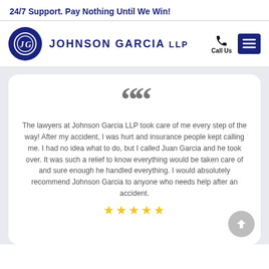24/7 Support. Pay Nothing Until We Win!
[Figure (logo): Johnson Garcia LLP law firm logo with circular emblem containing stylized JG letters and firm name text, plus Call Us phone icon and hamburger menu button]
The lawyers at Johnson Garcia LLP took care of me every step of the way! After my accident, I was hurt and insurance people kept calling me. I had no idea what to do, but I called Juan Garcia and he took over. It was such a relief to know everything would be taken care of and sure enough he handled everything. I would absolutely recommend Johnson Garcia to anyone who needs help after an accident.
★★★★★